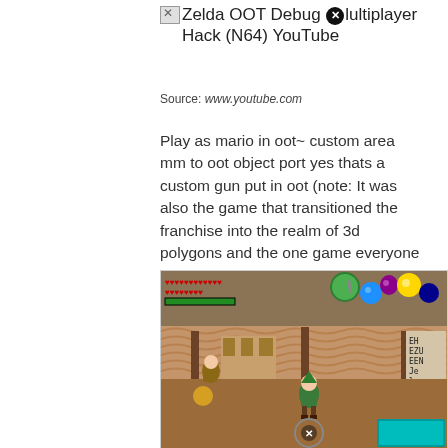Zelda OOT Debug Multiplayer Hack (N64) YouTube
Source: www.youtube.com
Play as mario in oot~ custom area mm to oot object port yes thats a custom gun put in oot (note: It was also the game that transitioned the franchise into the realm of 3d polygons and the one game everyone seems to remember when "zelda" is uttered.
[Figure (screenshot): Screenshot of Zelda Ocarina of Time gameplay showing Link standing in a market area with HUD displaying hearts, stamina bar, and item icons including sword, shield, and other collectibles. A map/minimap is visible in the lower right.]